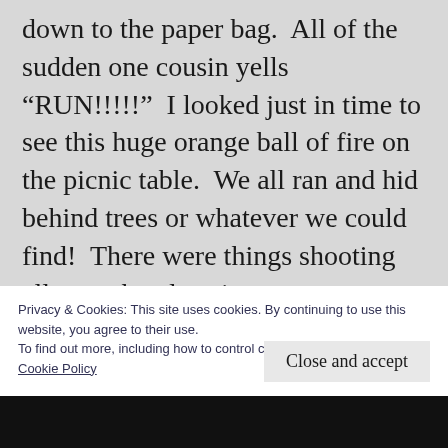down to the paper bag.  All of the sudden one cousin yells “RUN!!!!!”  I looked just in time to see this huge orange ball of fire on the picnic table.  We all ran and hid behind trees or whatever we could find!  There were things shooting all over the place in every direction!  It sounded as though we were right in the middle of a huge artillery fire!  The echo from the river amplified it at least 10 times!  It seemed to go on forever but in actuality it
Privacy & Cookies: This site uses cookies. By continuing to use this website, you agree to their use.
To find out more, including how to control cookies, see here:
Cookie Policy
Close and accept
[Figure (photo): Dark photo strip at bottom of page, appears to show fireworks or sparks against a dark background]